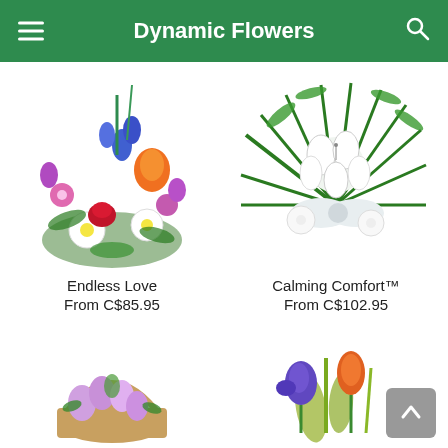Dynamic Flowers
[Figure (photo): Colorful mixed flower bouquet with purple, orange, red, blue and white flowers - Endless Love]
Endless Love
From C$85.95
[Figure (photo): White floral sympathy arrangement with lilies and green fronds - Calming Comfort]
Calming Comfort™
From C$102.95
[Figure (photo): Partially visible basket with light purple/pink flowers at bottom left]
[Figure (photo): Partially visible arrangement with orange tulips and purple iris at bottom right]